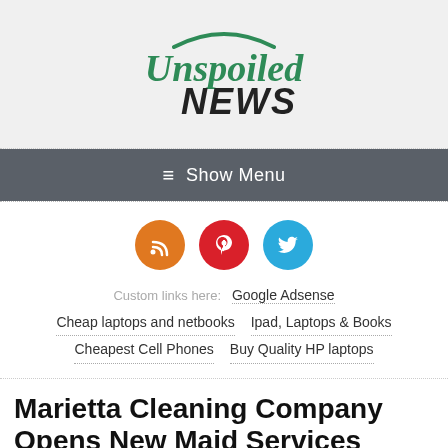[Figure (logo): Unspoiled NEWS logo — green script 'Unspoiled' with arc above, dark bold 'NEWS' below]
≡ Show Menu
[Figure (infographic): Three circular social media icons: orange RSS, red Pinterest, blue Twitter]
Custom links here: Google Adsense  Cheap laptops and netbooks  Ipad, Laptops & Books  Cheapest Cell Phones  Buy Quality HP laptops
Marietta Cleaning Company Opens New Maid Services Location in East Cobb To Tackle Need For Disinfecting And